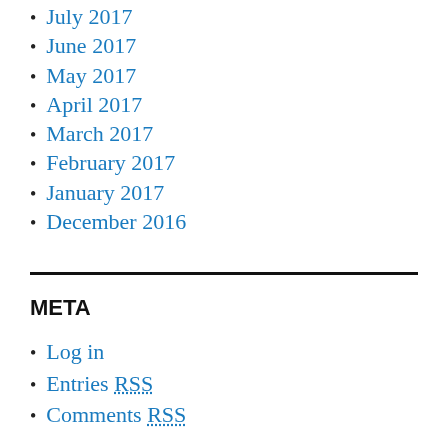July 2017
June 2017
May 2017
April 2017
March 2017
February 2017
January 2017
December 2016
META
Log in
Entries RSS
Comments RSS